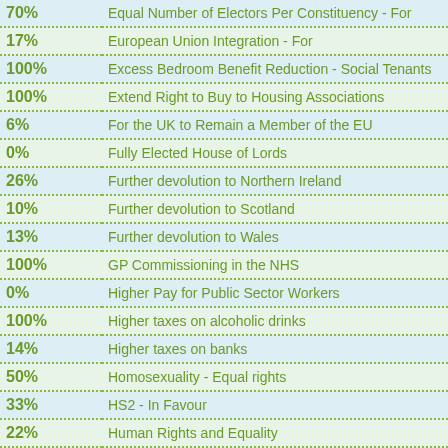| Percentage | Policy |
| --- | --- |
| 70% | Equal Number of Electors Per Constituency - For |
| 17% | European Union Integration - For |
| 100% | Excess Bedroom Benefit Reduction - Social Tenants |
| 100% | Extend Right to Buy to Housing Associations |
| 6% | For the UK to Remain a Member of the EU |
| 0% | Fully Elected House of Lords |
| 26% | Further devolution to Northern Ireland |
| 10% | Further devolution to Scotland |
| 13% | Further devolution to Wales |
| 100% | GP Commissioning in the NHS |
| 0% | Higher Pay for Public Sector Workers |
| 100% | Higher taxes on alcoholic drinks |
| 14% | Higher taxes on banks |
| 50% | Homosexuality - Equal rights |
| 33% | HS2 - In Favour |
| 22% | Human Rights and Equality |
| 0% | Incentivise Low Carbon Electricity Generation |
| 100% | Increase Air Passenger Duty |
| 70% | Increase the income tax - tax free allowance |